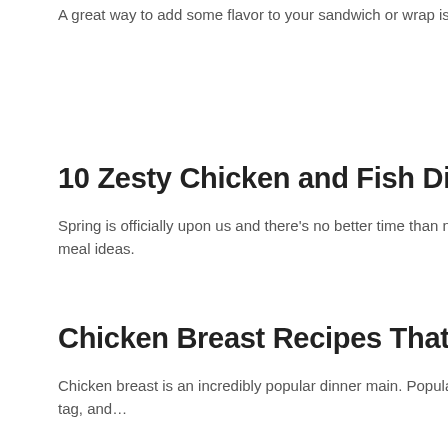A great way to add some flavor to your sandwich or wrap is by a
10 Zesty Chicken and Fish Dinners for
Spring is officially upon us and there’s no better time than now t
meal ideas.
Chicken Breast Recipes That Are Anyt
Chicken breast is an incredibly popular dinner main. Popular for
tag, and…